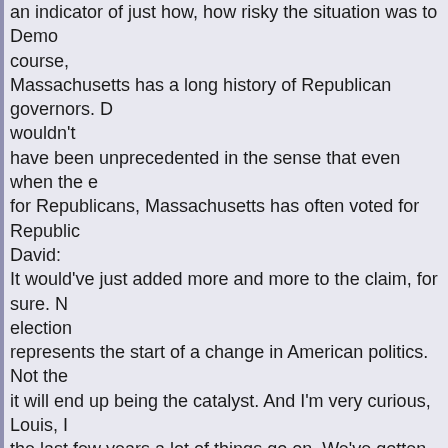an indicator of just how, how risky the situation was to Demo course, Massachusetts has a long history of Republican governors. D wouldn't have been unprecedented in the sense that even when the e for Republicans, Massachusetts has often voted for Republic David: It would've just added more and more to the claim, for sure. N election represents the start of a change in American politics. Not the it will end up being the catalyst. And I'm very curious, Louis, I the last few years a lot of things go on. We've gotten rid of on bizarre presidents with certainly just questionable basic intelli the first black president. We now have, are going to have the first House. We had the first real significant plethora of bizarre candidates and Christine O'Donnell. I don't know exactly what will happen sure it's going to be different and it's going to be fascinating. Louis of the candidates we'll see? David: The candidates we'll see